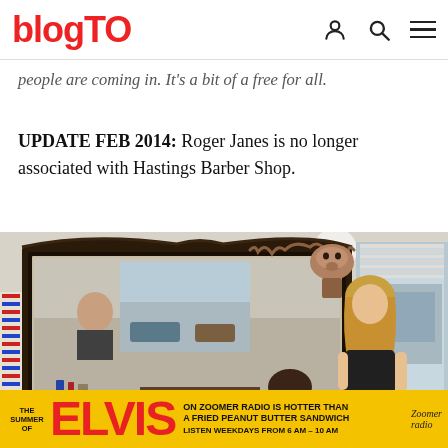blogTO
people are coming in. It's a bit of a free for all.
UPDATE FEB 2014: Roger Janes is no longer associated with Hastings Barber Shop.
[Figure (photo): Interior of Hastings Barber Shop showing a woman barber cutting a customer's hair, a decorative antique mirror, a mounted deer head on the wall, and a view of the street through large windows. A barber pole is visible on the left.]
[Figure (infographic): Advertisement banner: 'THE SUMMER OF ELVIS ON ZOOMER RADIO IS HOTTER THAN A FRIED PEANUT BUTTER SANDWICH LISTEN WEEKDAYS FROM 6 AM - 10 AM' with Zoomer Radio logo]